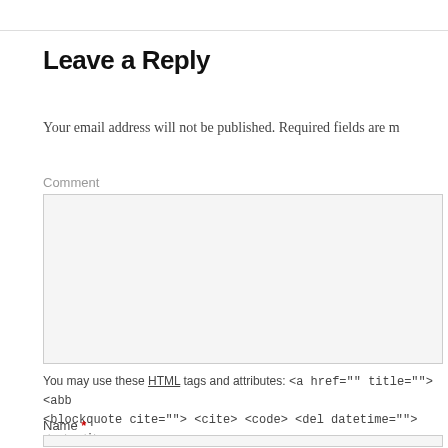Leave a Reply
Your email address will not be published. Required fields are m
Comment
You may use these HTML tags and attributes: <a href="" title=""> <abb <blockquote cite=""> <cite> <code> <del datetime=""> <em> <i>
Name *